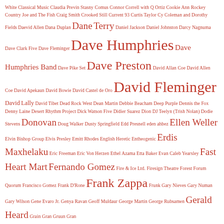[Figure (other): Tag cloud of musician/artist names in red, varying font sizes indicating frequency/popularity. Names include White Classical Music, Claudia Previn, Stasny, Comus, Connor Correll with Q Ortiz, Cookie Ann Rockey, Country Joe and The Fish, Craig Smith, Crooked Still, Current 93, Curtis Taylor, Cy Coleman and Dorothy Fields, Daevid Allen, Dana Duplan, Dane Terry, Daniel Jackson, Daniel Johnston, Darcy Nagnuma, Dave Clark Five, Dave Fleminger, Dave Humphries (large), Dave Humphries Band, Dave Pike Set, Dave Preston (large), David Allan Coe (twice), David Apekaun, David Bowie, David Castel de Oro, David Fleminger (very large), David Lally, David Tibet, Dead Rock West, Dean Martin, Debbie Beacham, Deep Purple, Dennis the Fox, Denny Laine, Desert Rhythm Project, Dick Watson Five, Didier Suarez, Dion, DJ Teelyn (Trish Nolan), Dodie Stevens, Donovan (large), Doug Walker, Dusty Springfield, Edd Presnell, eden ahbez, Ellen Weller (large), Elvin Bishop Group, Elvis Presley, Emitt Rhodes, English Heretic, Entheogenic, Erdis Maxhelaku (large), Eric Freeman, Eric Von Herzen, Ethel Azama, Etta Baker, Evan Caleb Yearsley, Fast Heart Mart (large), Fernando Gomez (large), Fire & Ice Ltd., Firesign Theatre, Forest, Forum Quorum, Francisco Gomez, Frank D'Rone, Frank Zappa (very large), Frunk, Gary Nieves, Gary Numan, Gary Wilson, Gene Evaro Jr., Genya Ravan, Geoff Muldaur, George Martin, George Rubsamen, Gerald Heard (large), Grain, Gran, Gruun, Gran]